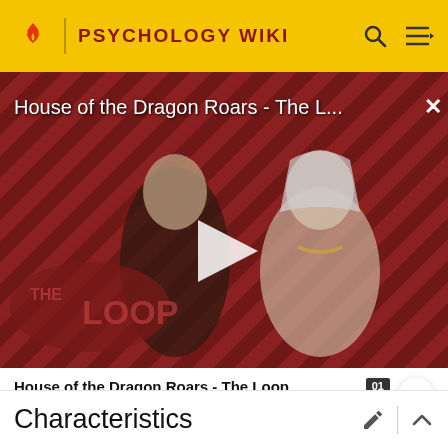PSYCHOLOGY WIKI
[Figure (screenshot): Video thumbnail for 'House of the Dragon Roars - The Loop' showing two characters against a red and black diagonal stripe background with a play button overlay and The Loop logo]
House of the Dragon Roars - The Loop
ADVERTISEMENT
Characteristics